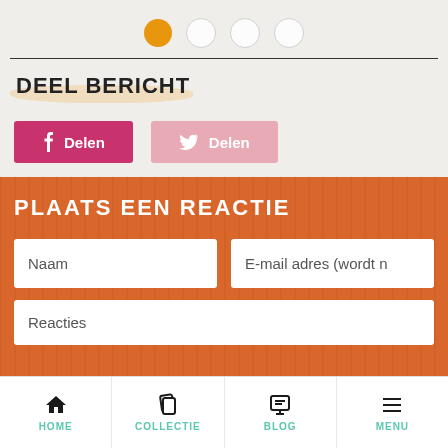[Figure (other): Four circular pagination dots, first one orange/active, rest white/inactive]
DEEL BERICHT
f Delen  🐦 Delen
PLAATS EEN REACTIE
Naam  |  E-mail adres (wordt n
Reacties
HOME  COLLECTIE  BLOG  MENU